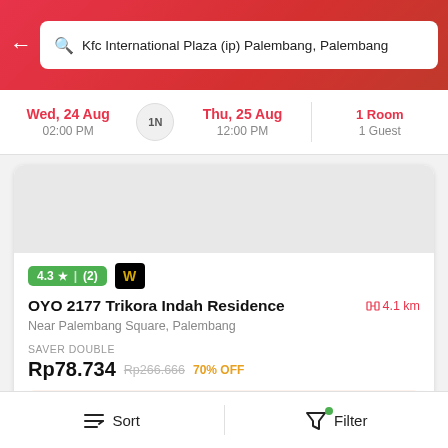Kfc International Plaza (ip) Palembang, Palembang
Wed, 24 Aug 02:00 PM | 1N | Thu, 25 Aug 12:00 PM | 1 Room 1 Guest
4.3 ★ (2) W
OYO 2177 Trikora Indah Residence 4.1 km
Near Palembang Square, Palembang
SAVER DOUBLE
Rp78.734 Rp266.666 70% OFF
All staff vaccinated with both doses